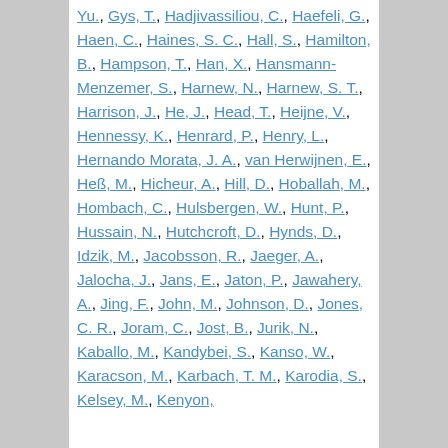Yu., Gys, T., Hadjivassiliou, C., Haefeli, G., Haen, C., Haines, S. C., Hall, S., Hamilton, B., Hampson, T., Han, X., Hansmann-Menzemer, S., Harnew, N., Harnew, S. T., Harrison, J., He, J., Head, T., Heijne, V., Hennessy, K., Henrard, P., Henry, L., Hernando Morata, J. A., van Herwijnen, E., Heß, M., Hicheur, A., Hill, D., Hoballah, M., Hombach, C., Hulsbergen, W., Hunt, P., Hussain, N., Hutchcroft, D., Hynds, D., Idzik, M., Jacobsson, R., Jaeger, A., Jalocha, J., Jans, E., Jaton, P., Jawahery, A., Jing, F., John, M., Johnson, D., Jones, C. R., Joram, C., Jost, B., Jurik, N., Kaballo, M., Kandybei, S., Kanso, W., Karacson, M., Karbach, T. M., Karodia, S., Kelsey, M., Kenyon,